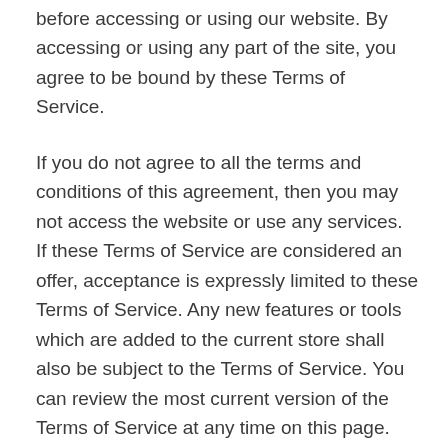before accessing or using our website. By accessing or using any part of the site, you agree to be bound by these Terms of Service.
If you do not agree to all the terms and conditions of this agreement, then you may not access the website or use any services. If these Terms of Service are considered an offer, acceptance is expressly limited to these Terms of Service. Any new features or tools which are added to the current store shall also be subject to the Terms of Service. You can review the most current version of the Terms of Service at any time on this page. We reserve the right to update, change or replace any part of these Terms of Service by posting updates and/or changes to our website. It is your responsibility to check this page periodically for changes. Your continued use of or access to the website following the posting of any changes constitutes acceptance of those changes.